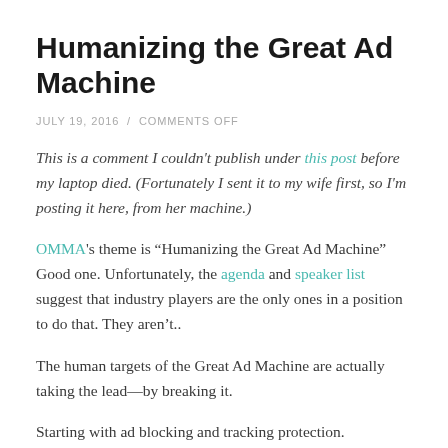Humanizing the Great Ad Machine
JULY 19, 2016 / COMMENTS OFF
This is a comment I couldn't publish under this post before my laptop died. (Fortunately I sent it to my wife first, so I'm posting it here, from her machine.)
OMMA's theme is “Humanizing the Great Ad Machine” Good one. Unfortunately, the agenda and speaker list suggest that industry players are the only ones in a position to do that. They aren’t..
The human targets of the Great Ad Machine are actually taking the lead—by breaking it.
Starting with ad blocking and tracking protection.